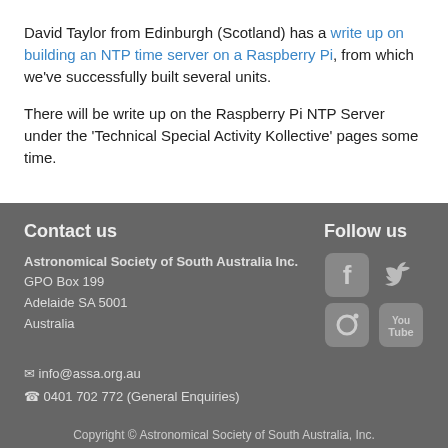David Taylor from Edinburgh (Scotland) has a write up on building an NTP time server on a Raspberry Pi, from which we've successfully built several units.
There will be write up on the Raspberry Pi NTP Server under the 'Technical Special Activity Kollective' pages some time.
Contact us
Astronomical Society of South Australia Inc.
GPO Box 199
Adelaide SA 5001
Australia
Follow us
[Figure (infographic): Social media icons: Facebook, Twitter, Instagram, YouTube]
✉ info@assa.org.au
☎ 0401 702 772 (General Enquiries)
Copyright © Astronomical Society of South Australia, Inc.
ABN 95 668 807 078